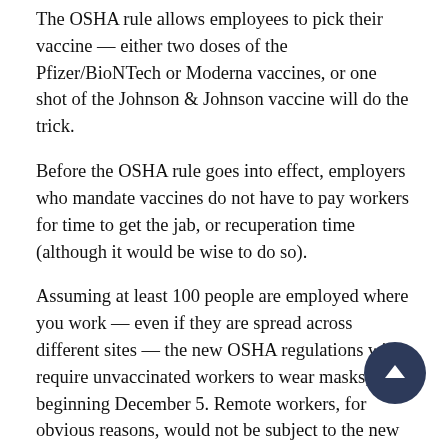The OSHA rule allows employees to pick their vaccine — either two doses of the Pfizer/BioNTech or Moderna vaccines, or one shot of the Johnson & Johnson vaccine will do the trick.
Before the OSHA rule goes into effect, employers who mandate vaccines do not have to pay workers for time to get the jab, or recuperation time (although it would be wise to do so).
Assuming at least 100 people are employed where you work — even if they are spread across different sites — the new OSHA regulations will require unvaccinated workers to wear masks, beginning December 5. Remote workers, for obvious reasons, would not be subject to the new requirements, unless they come into the office from time to time.
Whether or not the new rules apply to you, if your employer requires vaccination, and you refuse without good reason, you can be disciplined, or even discharged. If you're fired for refusing to get the shot — or if you'd rather quit than submit